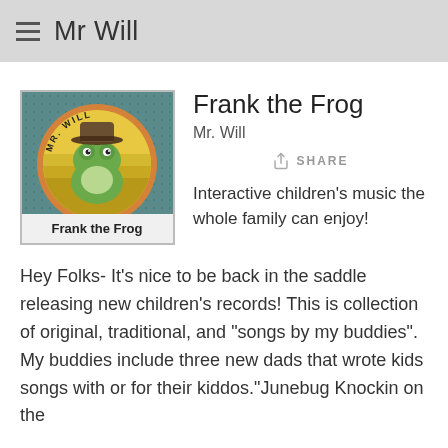Mr Will
[Figure (illustration): Album art for 'Frank the Frog' by Mr. Will — a cartoon frog wearing a cowboy hat centered in a yellow/olive circle on a teal dotted background. Text 'MR. WILL' arcs above the frog and 'Frank the Frog' appears in bold black text at the bottom of the square image.]
Frank the Frog
Mr. Will
SHARE
Interactive children's music the whole family can enjoy!
Hey Folks- It's nice to be back in the saddle releasing new children's records! This is collection of original, traditional, and "songs by my buddies". My buddies include three new dads that wrote kids songs with or for their kiddos."Junebug Knockin on the